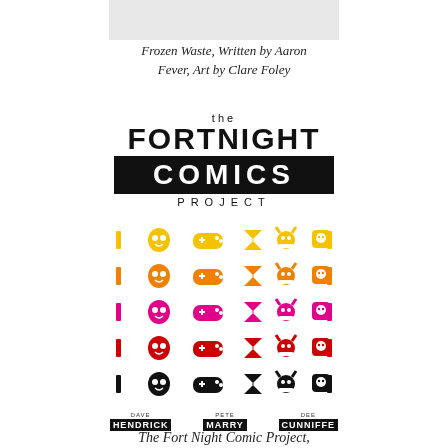[Figure (photo): Partial top edge of a book cover image showing a light/grey artwork at the top]
Frozen Waste, Written by Aaron Fever, Art by Clare Foley
[Figure (logo): The Fortnight Comics Project logo: 'the' in small caps, 'FORTNIGHT' in large bold, 'COMICS' in large bold white on black bar, 'PROJECT' in spaced small caps. Below are 5 rows of 6 icons in colors: yellow, orange, pink/magenta, red, black — showing: hourglass-like shape, alien/character face, game controller, hourglass, horned skull, speech bubble with skull.]
DAVE HENDRICK   PETE MARRY   DEE CUNNIFFE
The Fort Night Comic Project,